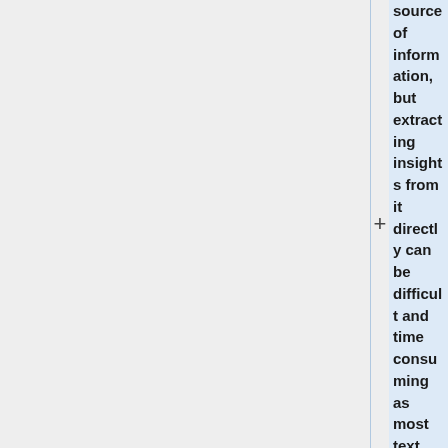source of information, but extracting insights from it directly can be difficult and time consuming as most text data is unstructured. NLP text classification can help automatically structure and analyze text, quickly and cost-effectively, allowing for individuals to extract import features from the text easier